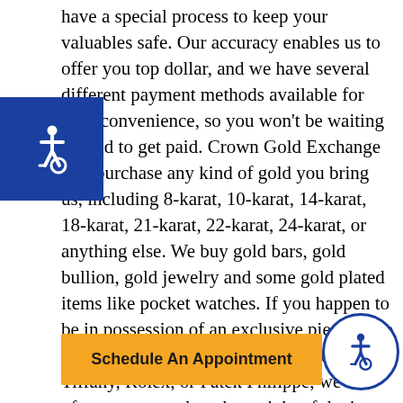have a special process to keep your valuables safe. Our accuracy enables us to offer you top dollar, and we have several different payment methods available for your convenience, so you won't be waiting around to get paid. Crown Gold Exchange will purchase any kind of gold you bring us, including 8-karat, 10-karat, 14-karat, 18-karat, 21-karat, 22-karat, 24-karat, or anything else. We buy gold bars, gold bullion, gold jewelry and some gold plated items like pocket watches. If you happen to be in possession of an exclusive piece made by a top gold designer such as Cartier, Tiffany, Rolex, or Patek Philippe, we will often pay more than the weight of the item. Such special pieces often command a higher price on the secondary market due to their
[Figure (other): Accessibility icon (wheelchair symbol) in white on blue square background, top left]
[Figure (other): Accessibility icon (wheelchair symbol) in blue on white circle with blue border, bottom right]
Schedule An Appointment